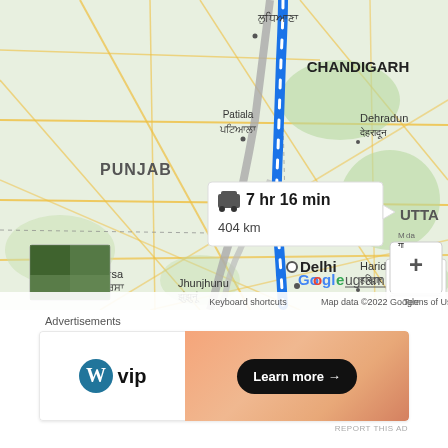[Figure (map): Google Maps screenshot showing a driving route from Chandigarh area to Delhi, India. The route (blue line) passes through Punjab, Patiala, and Delhi. A route info box shows '7 hr 16 min' and '404 km'. The map shows regions including Punjab, Chandigarh, Dehradun, Haridwar, Sirsa, Jhunjhunu, and Delhi. Map data ©2022 Google. Keyboard shortcuts and Terms of Use labels visible at bottom.]
Advertisements
[Figure (illustration): Advertisement banner for WordPress VIP. Left side white background with WordPress logo (W in circle) and 'vip' text. Right side orange/peach gradient background with 'Learn more →' button in black pill shape.]